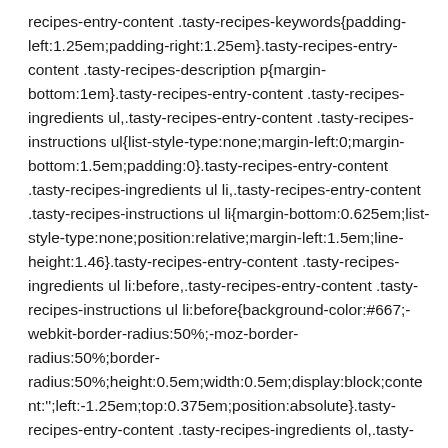recipes-entry-content .tasty-recipes-keywords{padding-left:1.25em;padding-right:1.25em}.tasty-recipes-entry-content .tasty-recipes-description p{margin-bottom:1em}.tasty-recipes-entry-content .tasty-recipes-ingredients ul,.tasty-recipes-entry-content .tasty-recipes-instructions ul{list-style-type:none;margin-left:0;margin-bottom:1.5em;padding:0}.tasty-recipes-entry-content .tasty-recipes-ingredients ul li,.tasty-recipes-entry-content .tasty-recipes-instructions ul li{margin-bottom:0.625em;list-style-type:none;position:relative;margin-left:1.5em;line-height:1.46}.tasty-recipes-entry-content .tasty-recipes-ingredients ul li:before,.tasty-recipes-entry-content .tasty-recipes-instructions ul li:before{background-color:#667;-webkit-border-radius:50%;-moz-border-radius:50%;border-radius:50%;height:0.5em;width:0.5em;display:block;content:'';left:-1.25em;top:0.375em;position:absolute}.tasty-recipes-entry-content .tasty-recipes-ingredients ol,.tasty-recipes-